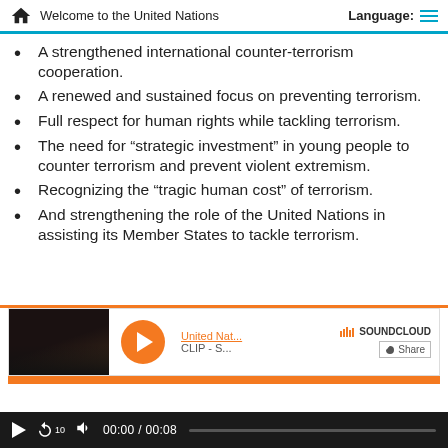Welcome to the United Nations   Language:
A strengthened international counter-terrorism cooperation.
A renewed and sustained focus on preventing terrorism.
Full respect for human rights while tackling terrorism.
The need for “strategic investment” in young people to counter terrorism and prevent violent extremism.
Recognizing the “tragic human cost” of terrorism.
And strengthening the role of the United Nations in assisting its Member States to tackle terrorism.
[Figure (screenshot): SoundCloud embedded audio player widget showing United Nat... CLIP - S... with orange play button and Share option, followed by an orange progress bar.]
[Figure (screenshot): Video/audio playback controls bar on dark background showing play button, replay 10 button, volume button, 00:00 / 00:08 timestamp, and progress bar.]